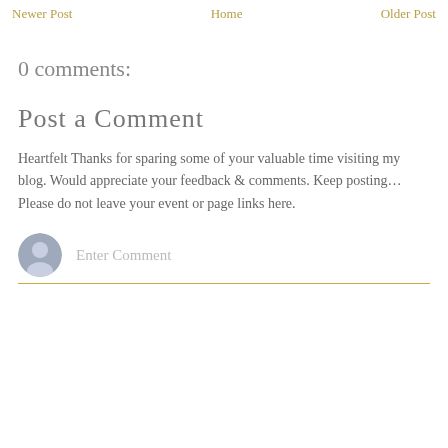Newer Post   Home   Older Post
0 comments:
Post a Comment
Heartfelt Thanks for sparing some of your valuable time visiting my blog. Would appreciate your feedback & comments. Keep posting…Please do not leave your event or page links here.
Enter Comment